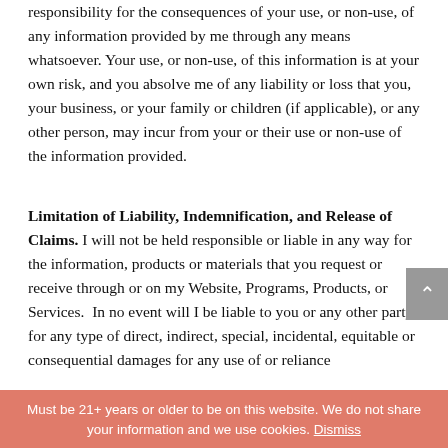responsibility for the consequences of your use, or non-use, of any information provided by me through any means whatsoever. Your use, or non-use, of this information is at your own risk, and you absolve me of any liability or loss that you, your business, or your family or children (if applicable), or any other person, may incur from your or their use or non-use of the information provided.
Limitation of Liability, Indemnification, and Release of Claims. I will not be held responsible or liable in any way for the information, products or materials that you request or receive through or on my Website, Programs, Products, or Services.  In no event will I be liable to you or any other party for any type of direct, indirect, special, incidental, equitable or consequential damages for any use of or reliance
Must be 21+ years or older to be on this website. We do not share your information and we use cookies. Dismiss